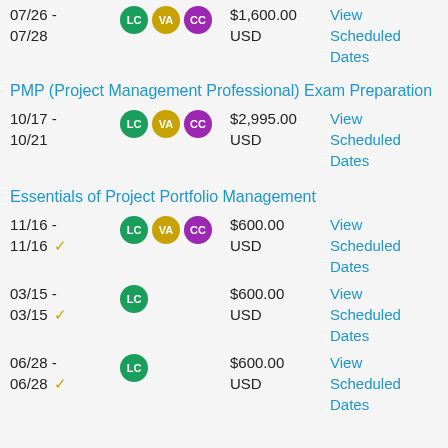07/26 - 07/28
$1,600.00 USD
View Scheduled Dates
PMP (Project Management Professional) Exam Preparation
10/17 - 10/21
$2,995.00 USD
View Scheduled Dates
Essentials of Project Portfolio Management
11/16 - 11/16 ✓
$600.00 USD
View Scheduled Dates
03/15 - 03/15 ✓
$600.00 USD
View Scheduled Dates
06/28 - 06/28 ✓
$600.00 USD
View Scheduled Dates